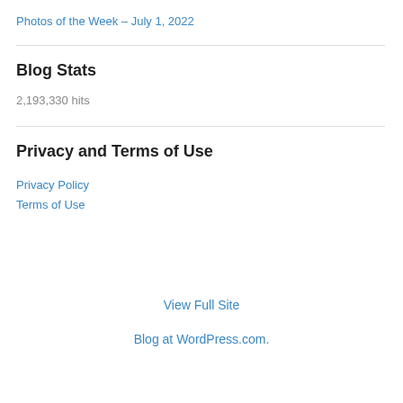Photos of the Week – July 1, 2022
Blog Stats
2,193,330 hits
Privacy and Terms of Use
Privacy Policy
Terms of Use
View Full Site
Blog at WordPress.com.